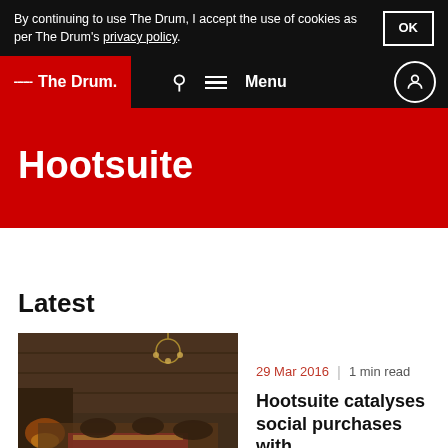By continuing to use The Drum, I accept the use of cookies as per The Drum's privacy policy.
The Drum — Menu
Hootsuite
Latest
[Figure (photo): Interior of a rustic cabin-style room with dark wood walls, low lighting, a chandelier, fireplace, and people sitting on cushioned seating with colorful rugs.]
29 Mar 2016 | 1 min read
Hootsuite catalyses social purchases with